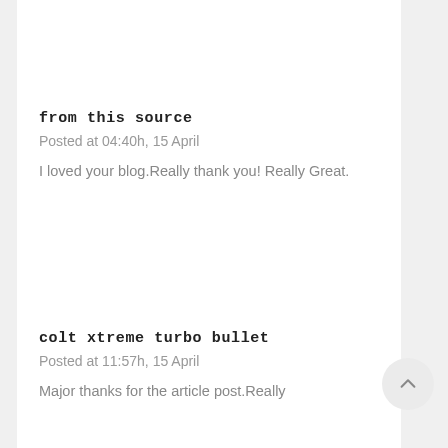from this source
Posted at 04:40h, 15 April
I loved your blog.Really thank you! Really Great.
colt xtreme turbo bullet
Posted at 11:57h, 15 April
Major thanks for the article post.Really